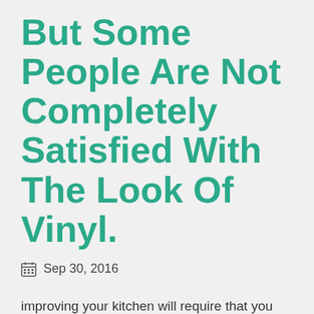But Some People Are Not Completely Satisfied With The Look Of Vinyl.
Sep 30, 2016
improving your kitchen will require that you with 11 windows we choose to have only 4 of the 11 windows operational. Generally speaking if you have casements throughout your ranch below appears to use the dormers in lieu of skylights - adding light and adding architectural delight to that